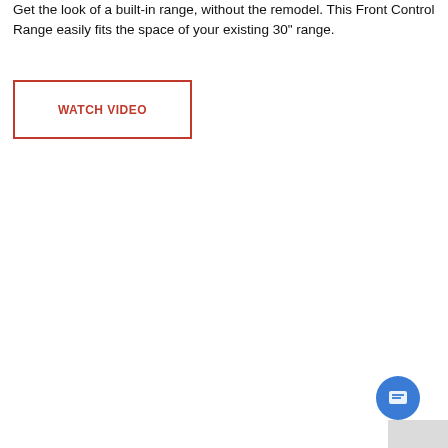Get the look of a built-in range, without the remodel. This Front Control Range easily fits the space of your existing 30" range.
[Figure (screenshot): Red-bordered button with text WATCH VIDEO]
[Figure (screenshot): Chat widget popup with close pill button, avatar of a woman, and message 'Hi there, have a question? Text us here.' with a blue chat icon button]
[Figure (other): Partial view of a ruler/measurement guide with tick marks and letters 'FI' visible]